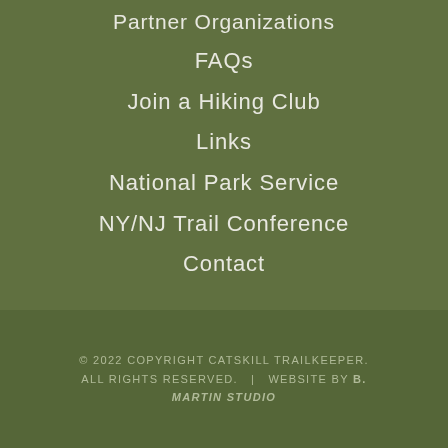Partner Organizations
FAQs
Join a Hiking Club
Links
National Park Service
NY/NJ Trail Conference
Contact
© 2022 COPYRIGHT CATSKILL TRAILKEEPER. ALL RIGHTS RESERVED.  |  WEBSITE BY B. MARTIN STUDIO